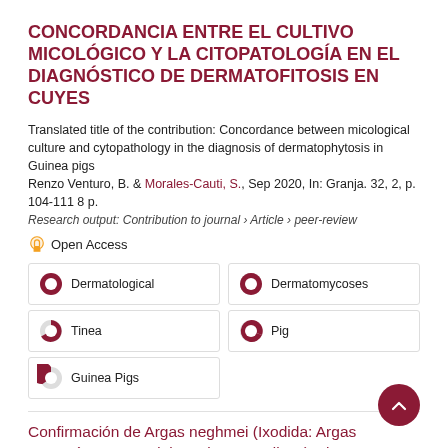CONCORDANCIA ENTRE EL CULTIVO MICOLÓGICO Y LA CITOPATOLOGÍA EN EL DIAGNÓSTICO DE DERMATOFITOSIS EN CUYES
Translated title of the contribution: Concordance between micological culture and cytopathology in the diagnosis of dermatophytosis in Guinea pigs
Renzo Venturo, B. & Morales-Cauti, S., Sep 2020, In: Granja. 32, 2, p. 104-111 8 p.
Research output: Contribution to journal › Article › peer-review
Open Access
Dermatological
Dermatomycoses
Tinea
Pig
Guinea Pigs
Confirmación de Argas neghmei (Ixodida: Argas...) en Perú y reporte del carpintero andino (Colaptes rupicola) como nuevo hospedero